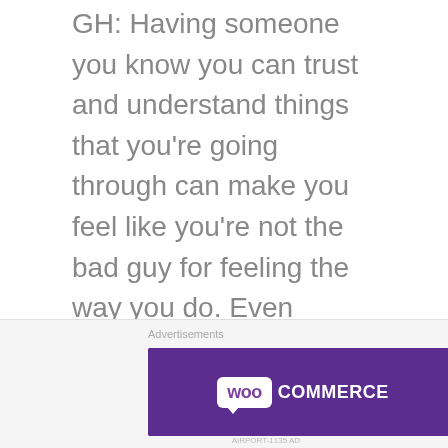GH: Having someone you know you can trust and understand things that you're going through can make you feel like you're not the bad guy for feeling the way you do. Even though things won't change instantly, just know that the people closest to you are always there to support you and help you through anything. It will feel like a weight off your shoulder once you have started the conversation off with what's on your mind, whether it's small or big, speaking to someone will make you feel better.
Advertisements
[Figure (other): WooCommerce advertisement banner with purple background. Left side shows WooCommerce logo (white bubble with 'woo' text and 'COMMERCE' in white). Right side reads 'The most customizable eCommerce platform' in white text.]